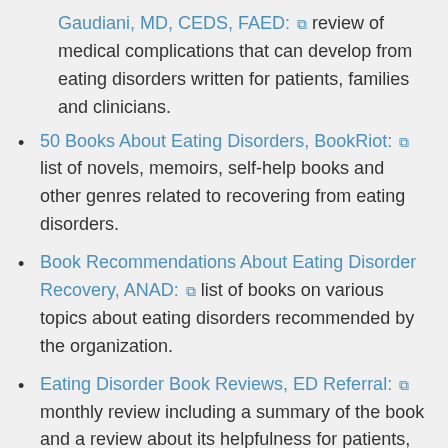Gaudiani, MD, CEDS, FAED: [external link] review of medical complications that can develop from eating disorders written for patients, families and clinicians.
50 Books About Eating Disorders, BookRiot: [external link] list of novels, memoirs, self-help books and other genres related to recovering from eating disorders.
Book Recommendations About Eating Disorder Recovery, ANAD: [external link] list of books on various topics about eating disorders recommended by the organization.
Eating Disorder Book Reviews, ED Referral: [external link] monthly review including a summary of the book and a review about its helpfulness for patients,